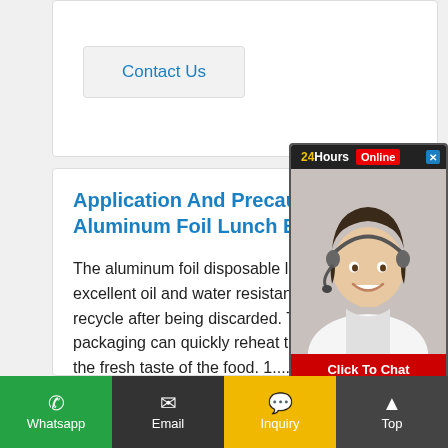Contact Us
Application And Precautions Of Aluminum Foil Lunch Box
The aluminum foil disposable lunch box h... excellent oil and water resistance and is easy to recycle after being discarded. This kind of packaging can quickly reheat the food and keep the fresh taste of the food. 1....
Contact Us
[Figure (photo): 24Hours Online chat widget with photo of female customer service representative wearing headset and Click To Chat button]
Whatsapp  Email  Inquiry  Top